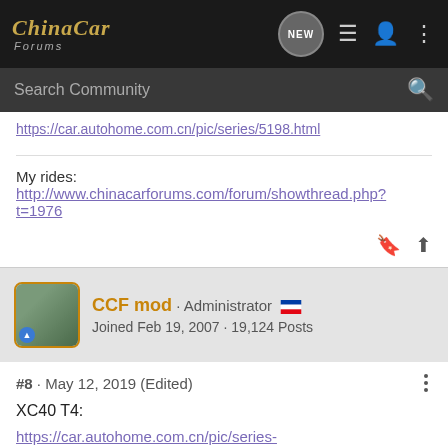ChinaCar Forums
https://car.autohome.com.cn/pic/series/5198.html
My rides: http://www.chinacarforums.com/forum/showthread.php?t=1976
CCF mod · Administrator · Joined Feb 19, 2007 · 19,124 Posts
#8 · May 12, 2019 (Edited)
XC40 T4:
https://car.autohome.com.cn/pic/series-s38870/5198.html#pvareaid=2042220